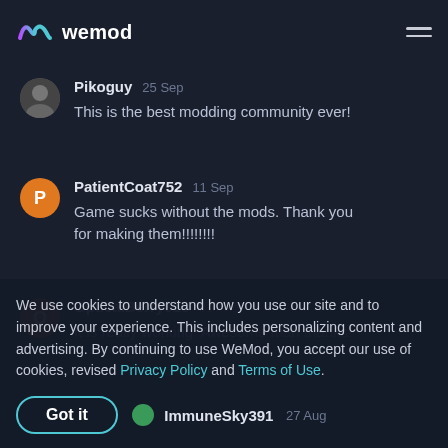wemod
prosses with a bunch of lights for thanks for the fun time with my buddies
Pikoguy  25 Sep
This is the best modding community ever!
PatientCoat752  11 Sep
Game sucks without the mods. Thank you for making them!!!!!!!!!
OpticalBerry616  31 Aug
It is really working. Awesome man thanks!
We use cookies to understand how you use our site and to improve your experience. This includes personalizing content and advertising. By continuing to use WeMod, you accept our use of cookies, revised Privacy Policy and Terms of Use.
Got it
ImmuneSky391  27 Aug